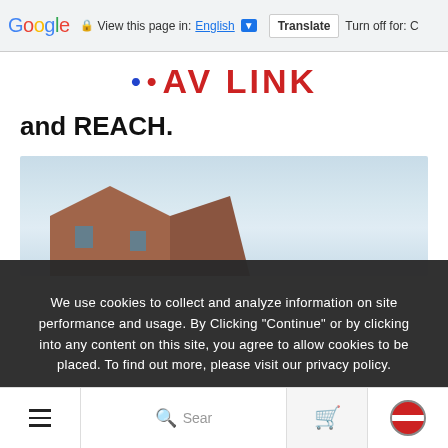Google  View this page in: English  Translate  Turn off for: C
[Figure (logo): AV LINK logo in red bold text with decorative dots]
and REACH.
[Figure (photo): Partial view of a brick building corner against a light blue sky]
We use cookies to collect and analyze information on site performance and usage. By Clicking "Continue" or by clicking into any content on this site, you agree to allow cookies to be placed. To find out more, please visit our privacy policy.
Continue
Navigation bar with hamburger menu, search, cart and flag icons